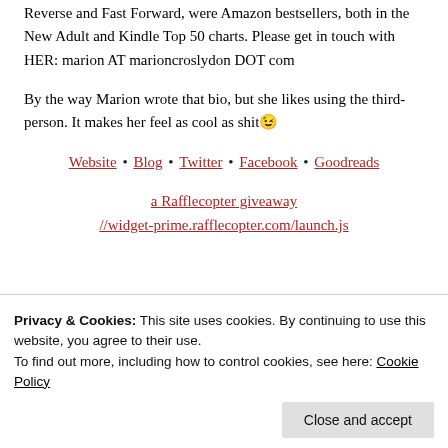Reverse and Fast Forward, were Amazon bestsellers, both in the New Adult and Kindle Top 50 charts. Please get in touch with HER: marion AT marioncroslydon DOT com
By the way Marion wrote that bio, but she likes using the third-person. It makes her feel as cool as shit😉
Website • Blog • Twitter • Facebook • Goodreads
a Rafflecopter giveaway
//widget-prime.rafflecopter.com/launch.js
Privacy & Cookies: This site uses cookies. By continuing to use this website, you agree to their use. To find out more, including how to control cookies, see here: Cookie Policy